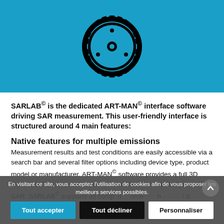[Figure (logo): Black gear/sprocket logo on blue background]
SARLAB® is the dedicated ART-MAN® interface software driving SAR measurement. This user-friendly interface is structured around 4 main features:
Native features for multiple emissions
Measurement results and test conditions are easily accessible via a search bar and several filter options including device type, product model or manufacturer. ART-MAN® software provides a full 3D representation, interpolation, visualisation of and spatially averaged SAR. SARLAB® supports all comp[...] d [...] cl rece[...] h [...] / d